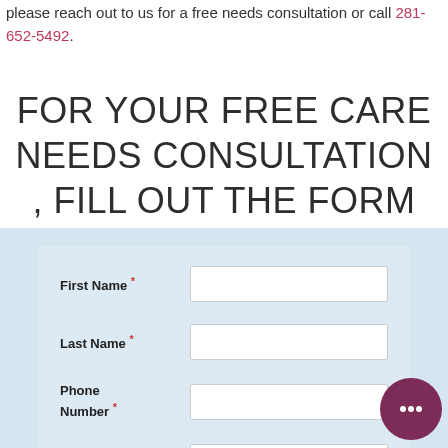please reach out to us for a free needs consultation or call 281-652-5492.
FOR YOUR FREE CARE NEEDS CONSULTATION , FILL OUT THE FORM BELOW
[Figure (other): Contact form with fields: First Name, Last Name, Phone Number, Email, all marked as required with red asterisk. Light blue background with white input boxes.]